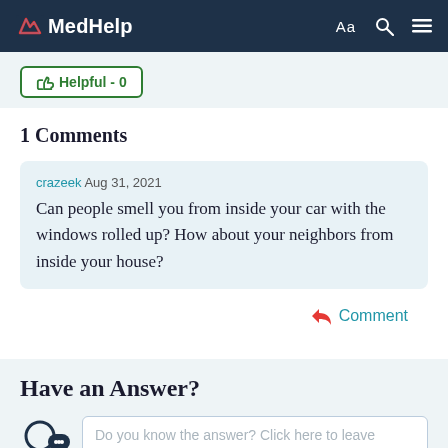MedHelp
Helpful - 0
1 Comments
crazeek Aug 31, 2021
Can people smell you from inside your car with the windows rolled up? How about your neighbors from inside your house?
Comment
Have an Answer?
Do you know the answer? Click here to leave